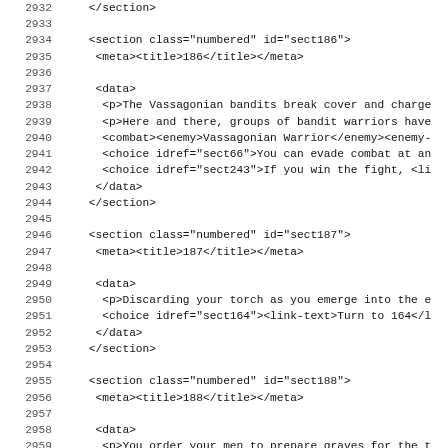Code listing lines 2932-2963 showing XML sections 186, 187, 188
2932     </section>
2933
2934     <section class="numbered" id="sect186">
2935       <meta><title>186</title></meta>
2936
2937       <data>
2938         <p>The Vassagonian bandits break cover and charge
2939         <p>Here and there, groups of bandit warriors have
2940         <combat><enemy>Vassagonian Warrior</enemy><enemy-
2941         <choice idref="sect66">You can evade combat at an
2942         <choice idref="sect243">If you win the fight, <li
2943       </data>
2944     </section>
2945
2946     <section class="numbered" id="sect187">
2947       <meta><title>187</title></meta>
2948
2949       <data>
2950         <p>Discarding your torch as you emerge into the e
2951         <choice idref="sect164"><link-text>Turn to 164</l
2952       </data>
2953     </section>
2954
2955     <section class="numbered" id="sect188">
2956       <meta><title>188</title></meta>
2957
2958       <data>
2959         <p>You order your men to prepare graves for the t
2960         <choice idref="sect233"><link-text>Turn to 233</l
2961       </data>
2962     </section>
2963